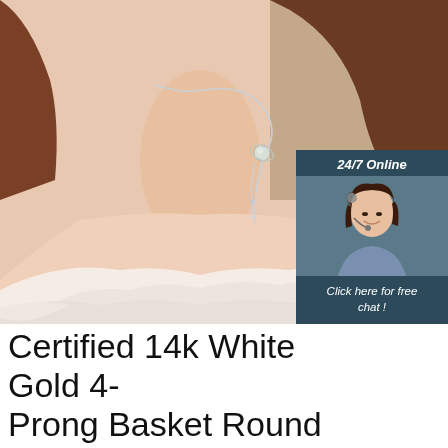[Figure (photo): Woman wearing a silver lariat-style necklace with a pearl/crystal planet pendant, wearing a white ruffled off-shoulder top. Close-up neck and décolletage shot.]
[Figure (infographic): Customer service chat widget overlay. Dark teal background. Header: '24/7 Online'. Photo of smiling woman with headset. Footer text: 'Click here for free chat!' with orange 'QUOTATION' button.]
[Figure (logo): TOP logo with orange arch/dots design above the word TOP in orange letters]
Certified 14k White Gold 4-Prong Basket Round